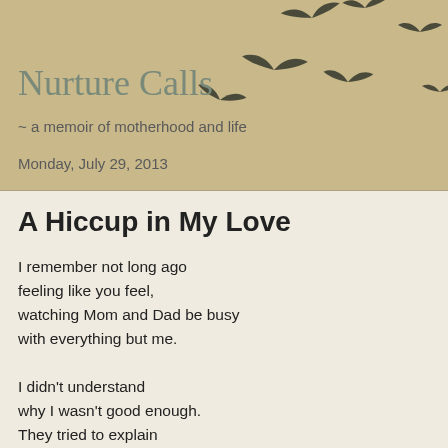Nurture Calls
~ a memoir of motherhood and life
Monday, July 29, 2013
A Hiccup in My Love
I remember not long ago
feeling like you feel,
watching Mom and Dad be busy
with everything but me.

I didn't understand
why I wasn't good enough.
They tried to explain
but it simply wasn't enough.

I remember thinking "one day when I'm Mom